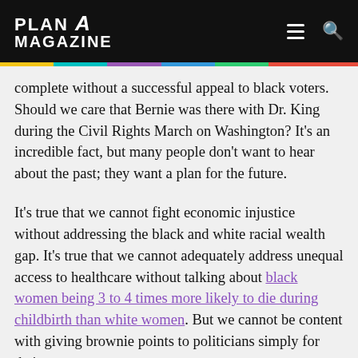PLAN A MAGAZINE
complete without a successful appeal to black voters. Should we care that Bernie was there with Dr. King during the Civil Rights March on Washington? It's an incredible fact, but many people don't want to hear about the past; they want a plan for the future.
It's true that we cannot fight economic injustice without addressing the black and white racial wealth gap. It's true that we cannot adequately address unequal access to healthcare without talking about black women being 3 to 4 times more likely to die during childbirth than white women. But we cannot be content with giving brownie points to politicians simply for their